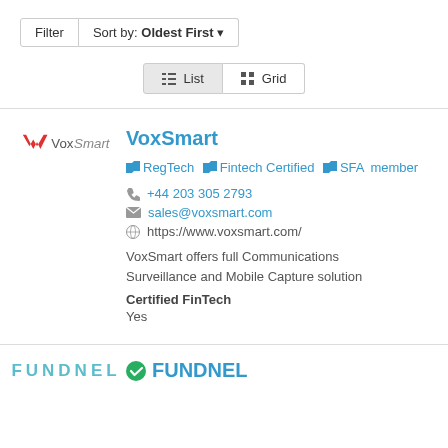Filter  Sort by: Oldest First ▾
≡ List  ⊞ Grid
VoxSmart
📁 RegTech  📁 Fintech Certified  📁 SFA member
+44 203 305 2793
sales@voxsmart.com
https://www.voxsmart.com/
VoxSmart offers full Communications Surveillance and Mobile Capture solution
Certified FinTech
Yes
FUNDNEL  ✅ FUNDNEL